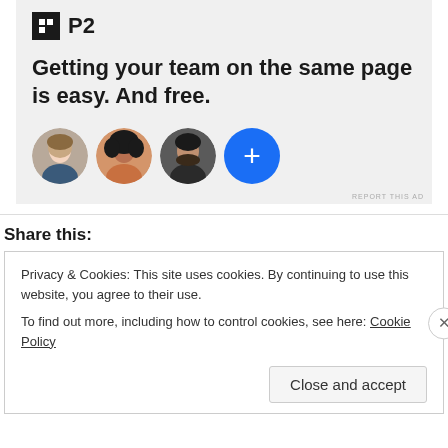[Figure (illustration): P2 app advertisement banner with logo, bold headline text, and three circular user avatar photos plus a blue plus button]
Getting your team on the same page is easy. And free.
REPORT THIS AD
Share this:
Privacy & Cookies: This site uses cookies. By continuing to use this website, you agree to their use.
To find out more, including how to control cookies, see here: Cookie Policy
Close and accept